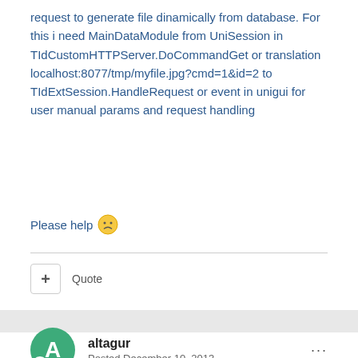request to generate file dinamically from database. For this i need MainDataModule from UniSession in TIdCustomHTTPServer.DoCommandGet or translation localhost:8077/tmp/myfile.jpg?cmd=1&id=2 to TIdExtSession.HandleRequest or event in unigui for user manual params and request handling
Please help 🙁
+ Quote
altagur
Posted December 10, 2013